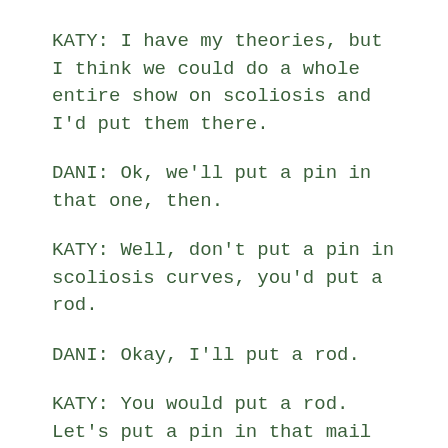KATY: I have my theories, but I think we could do a whole entire show on scoliosis and I'd put them there.
DANI: Ok, we'll put a pin in that one, then.
KATY: Well, don't put a pin in scoliosis curves, you'd put a rod.
DANI: Okay, I'll put a rod.
KATY: You would put a rod. Let's put a pin in that mail bag. Ohhhhhh!
DANI: Oh, ho ho! That's gonna make ya mighty unpopular there, lass.